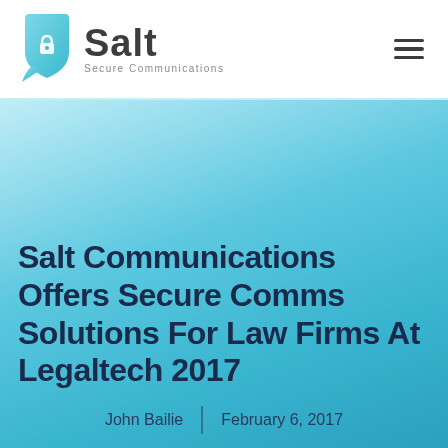[Figure (logo): Salt Secure Communications logo with teal shield/chat bubble icon and company name]
Salt Communications Offers Secure Comms Solutions For Law Firms At Legaltech 2017
John Bailie  |  February 6, 2017